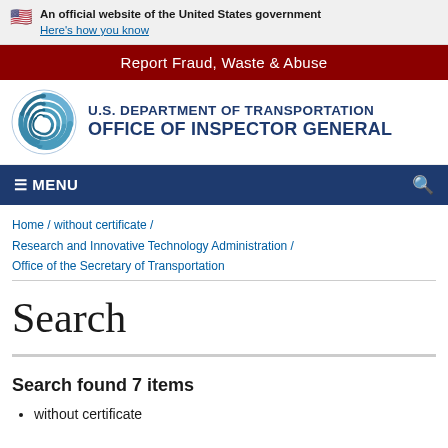An official website of the United States government
Here's how you know
Report Fraud, Waste & Abuse
[Figure (logo): U.S. Department of Transportation Office of Inspector General logo with circular swirl emblem]
U.S. DEPARTMENT OF TRANSPORTATION OFFICE OF INSPECTOR GENERAL
≡ MENU
Home / without certificate / Research and Innovative Technology Administration / Office of the Secretary of Transportation
Search
Search found 7 items
without certificate